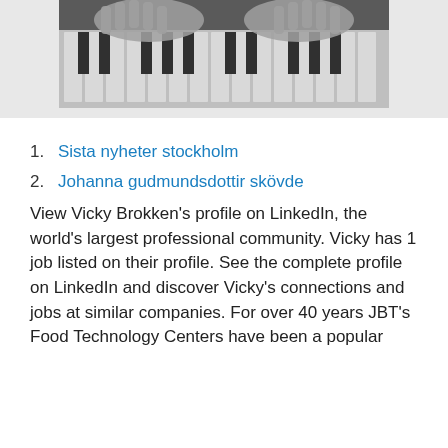[Figure (photo): Black and white photo of elderly hands playing piano keys]
1. Sista nyheter stockholm
2. Johanna gudmundsdottir skövde
View Vicky Brokken's profile on LinkedIn, the world's largest professional community. Vicky has 1 job listed on their profile. See the complete profile on LinkedIn and discover Vicky's connections and jobs at similar companies. For over 40 years JBT's Food Technology Centers have been a popular